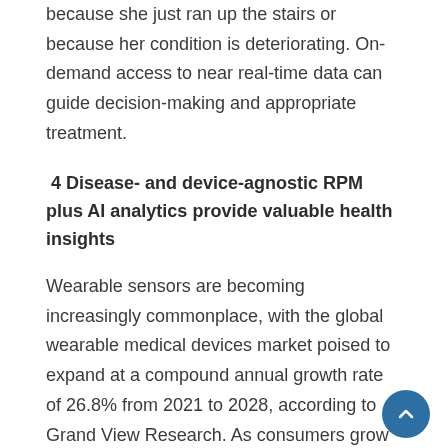because she just ran up the stairs or because her condition is deteriorating. On-demand access to near real-time data can guide decision-making and appropriate treatment.
4 Disease- and device-agnostic RPM plus AI analytics provide valuable health insights
Wearable sensors are becoming increasingly commonplace, with the global wearable medical devices market poised to expand at a compound annual growth rate of 26.8% from 2021 to 2028, according to Grand View Research. As consumers grow more comfortable wearing nonintrusive devices as part of their daily routine, it has become easier to monitor a broad range of vital signs and physiological activity